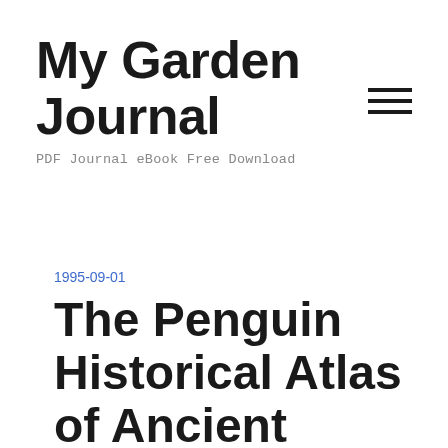My Garden Journal
PDF Journal eBook Free Download
1995-09-01
The Penguin Historical Atlas of Ancient Rome